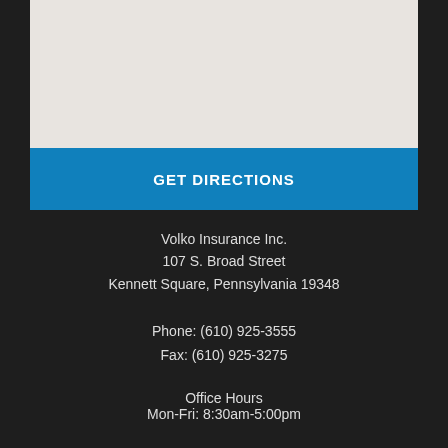[Figure (map): Map area placeholder showing a light gray map background]
GET DIRECTIONS
Volko Insurance Inc.
107 S. Broad Street
Kennett Square, Pennsylvania 19348
Phone: (610) 925-3555
Fax: (610) 925-3275
Office Hours
Mon-Fri: 8:30am-5:00pm